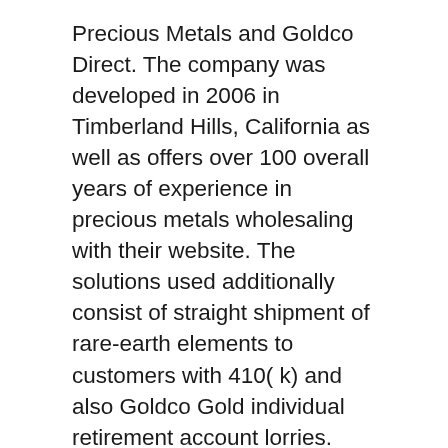Precious Metals and Goldco Direct. The company was developed in 2006 in Timberland Hills, California as well as offers over 100 overall years of experience in precious metals wholesaling with their website. The solutions used additionally consist of straight shipment of rare-earth elements to customers with 410( k) and also Goldco Gold individual retirement account lorries.
The expertise of the company is Silver and also Gold Individual Retirement Accounts. Thousands of customers have actually received aid to diversify, shield as well as grow their wealth via physical steels including silver, gold, palladium as well as platinum. The firm takes satisfaction in